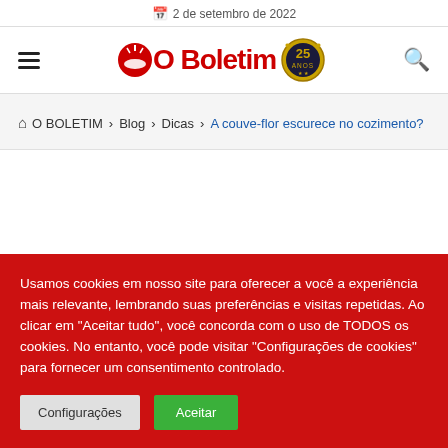2 de setembro de 2022
[Figure (logo): O Boletim logo with hamburger menu and search icon — red circular sun-like icon, bold red 'Boletim' text, gold '25 ANOS' badge medallion]
O BOLETIM > Blog > Dicas > A couve-flor escurece no cozimento?
Usamos cookies em nosso site para oferecer a você a experiência mais relevante, lembrando suas preferências e visitas repetidas. Ao clicar em "Aceitar tudo", você concorda com o uso de TODOS os cookies. No entanto, você pode visitar "Configurações de cookies" para fornecer um consentimento controlado.